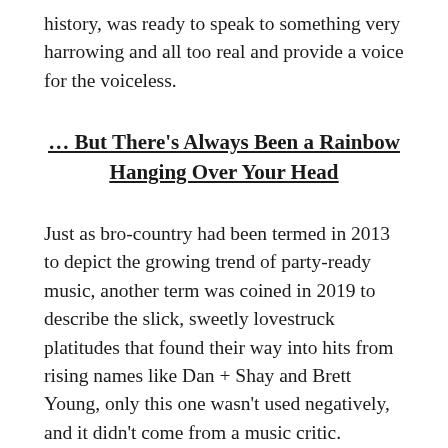history, was ready to speak to something very harrowing and all too real and provide a voice for the voiceless.
… But There's Always Been a Rainbow Hanging Over Your Head
Just as bro-country had been termed in 2013 to depict the growing trend of party-ready music, another term was coined in 2019 to describe the slick, sweetly lovestruck platitudes that found their way into hits from rising names like Dan + Shay and Brett Young, only this one wasn't used negatively, and it didn't come from a music critic.